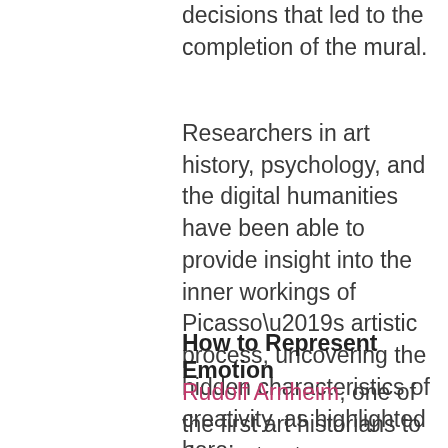decisions that led to the completion of the mural.
Researchers in art history, psychology, and the digital humanities have been able to provide insight into the inner workings of Picasso’s artistic process, uncovering the hidden characteristics of creativity, as highlighted here:
How to Represent Emotion
Rudolf Arnheim, one of the first art historians to deconstruct Picasso’s artistic process, analyzed Picasso’s work